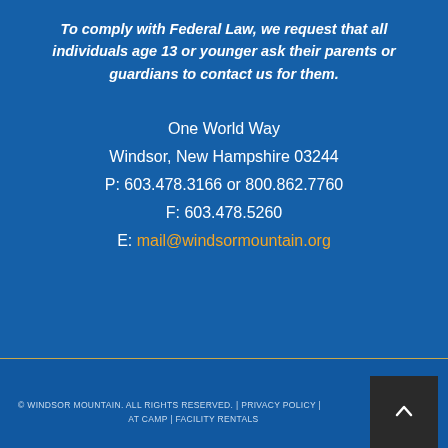To comply with Federal Law, we request that all individuals age 13 or younger ask their parents or guardians to contact us for them.
One World Way
Windsor, New Hampshire 03244
P: 603.478.3166 or 800.862.7760
F: 603.478.5260
E: mail@windsormountain.org
© WINDSOR MOUNTAIN. ALL RIGHTS RESERVED. | PRIVACY POLICY | AT CAMP | FACILITY RENTALS